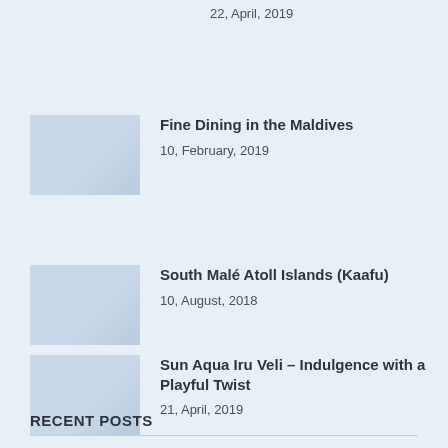22, April, 2019
Fine Dining in the Maldives
10, February, 2019
South Malé Atoll Islands (Kaafu)
10, August, 2018
Sun Aqua Iru Veli – Indulgence with a Playful Twist
21, April, 2019
RECENT POSTS